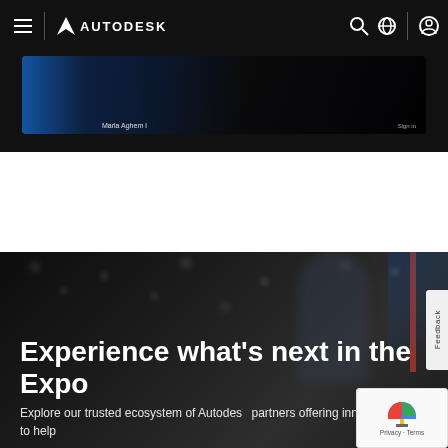Autodesk navigation bar with hamburger menu, Autodesk logo, search, globe, and user icons
[Figure (screenshot): Partial screenshot of a dark banner image showing a presentation or expo scene with text 'Marla Aghem l' visible]
Experience what’s next in the Expo
Explore our trusted ecosystem of Autodesk partners offering innovative ways to help